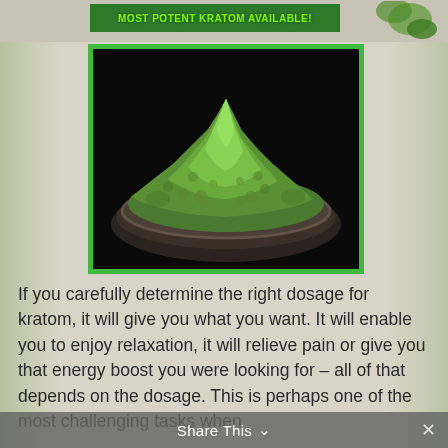MOST POTENT KRATOM AVAILABLE!
[Figure (photo): Green kratom powder piled high on a dark metallic plate/bowl against a black background, with a bright green border frame]
If you carefully determine the right dosage for kratom, it will give you what you want. It will enable you to enjoy relaxation, it will relieve pain or give you that energy boost you were looking for – all of that depends on the dosage. This is perhaps one of the most challenging tasks when
Share This ˅  ✕